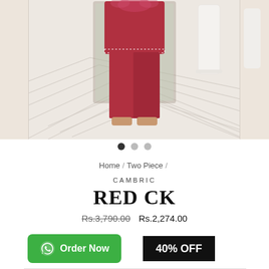[Figure (photo): Product photo of a woman wearing a red cambric two-piece outfit (kurta and pants) standing on a chevron-patterned floor with white vases in the background. Carousel with left and right partial images visible.]
Home / Two Piece /
CAMBRIC
RED CK
Rs.3,790.00  Rs.2,274.00
Order Now
40% OFF